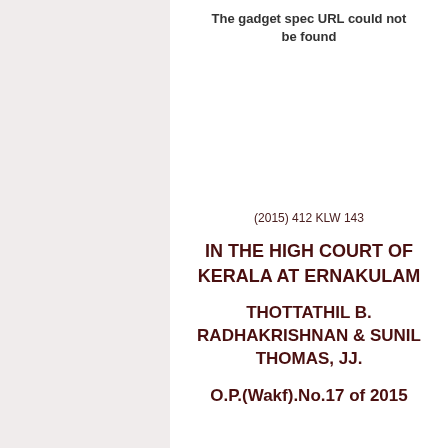The gadget spec URL could not be found
(2015) 412 KLW 143
IN THE HIGH COURT OF KERALA AT ERNAKULAM
THOTTATHIL B. RADHAKRISHNAN & SUNIL THOMAS, JJ.
O.P.(Wakf).No.17 of 2015